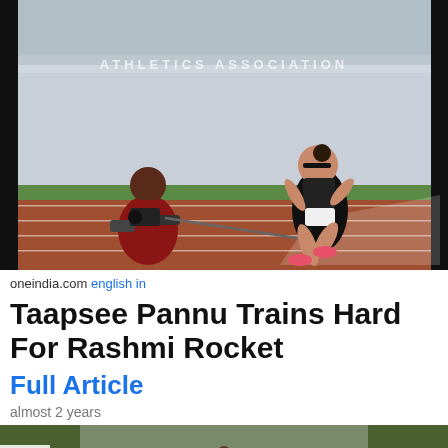[Figure (photo): A woman running on a track at an athletics stadium being filmed by a man with a camera, connected by a resistance band. Track and field setting with green grass visible in background.]
oneindia.com english in
Taapsee Pannu Trains Hard For Rashmi Rocket
Full Article
almost 2 years
[Figure (photo): A person riding a motorcycle on a road through a forested area, seen from behind.]